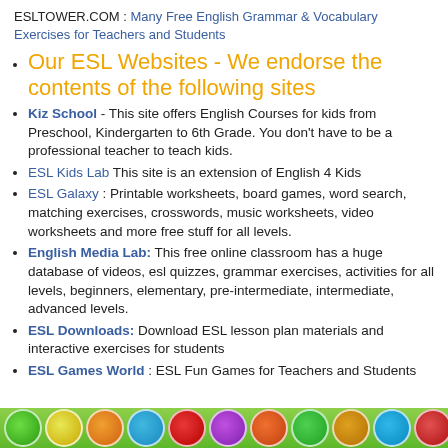ESLTOWER.COM : Many Free English Grammar & Vocabulary Exercises for Teachers and Students
Our ESL Websites - We endorse the contents of the following sites
Kiz School - This site offers English Courses for kids from Preschool, Kindergarten to 6th Grade. You don't have to be a professional teacher to teach kids.
ESL Kids Lab This site is an extension of English 4 Kids
ESL Galaxy : Printable worksheets, board games, word search, matching exercises, crosswords, music worksheets, video worksheets and more free stuff for all levels.
English Media Lab: This free online classroom has a huge database of videos, esl quizzes, grammar exercises, activities for all levels, beginners, elementary, pre-intermediate, intermediate, advanced levels.
ESL Downloads: Download ESL lesson plan materials and interactive exercises for students
ESL Games World : ESL Fun Games for Teachers and Students
[Figure (illustration): Green footer bar with colorful circular icons representing various educational website logos]